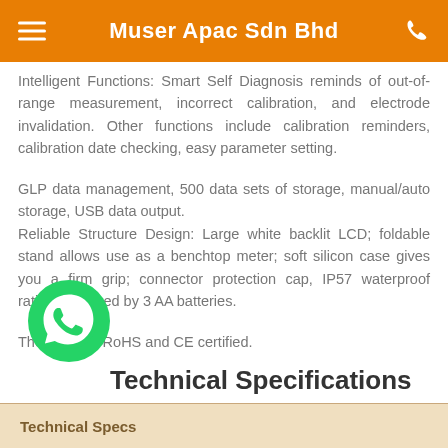Muser Apac Sdn Bhd
Intelligent Functions: Smart Self Diagnosis reminds of out-of-range measurement, incorrect calibration, and electrode invalidation. Other functions include calibration reminders, calibration date checking, easy parameter setting.
GLP data management, 500 data sets of storage, manual/auto storage, USB data output.
Reliable Structure Design: Large white backlit LCD; foldable stand allows use as a benchtop meter; soft silicon case gives you a firm grip; connector protection cap, IP57 waterproof rating; Powered by 3 AA batteries.
The meter is RoHS and CE certified.
[Figure (logo): WhatsApp green circular chat bubble logo]
Technical Specifications
| Technical Specs |
| --- |